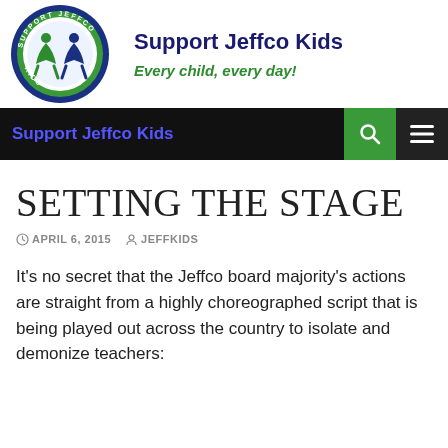[Figure (logo): Support Jeffco Kids circular logo with two human figures inside a green and blue circle, text 'SUPPORT JEFFCO KIDS' around the border]
Support Jeffco Kids
Every child, every day!
Support Jeffco Kids
SETTING THE STAGE
APRIL 6, 2015  JEFFKIDS
It’s no secret that the Jeffco board majority’s actions are straight from a highly choreographed script that is being played out across the country to isolate and demonize teachers: